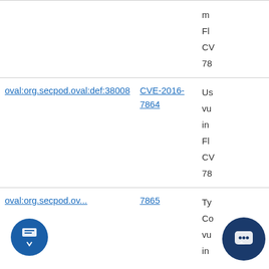| Definition ID | CVE ID | Description |
| --- | --- | --- |
| (partial top row) | CV...
78... | m...
Fl...
CV...
78... |
| oval:org.secpod.oval:def:38008 | CVE-2016-7864 | Us...
vu...
in...
Fl...
CV...
78... |
| oval:org.secpod.ov... | 7865 | Ty...
Co...
vu...
in... |
[Figure (screenshot): Chat widget overlay showing SecPod (S logo in green/dark) with message 'Hi, I am glad you are here.' and a close button (×). Below are floating action buttons: a message/scroll button on bottom-left and a chat bubble button on bottom-right.]